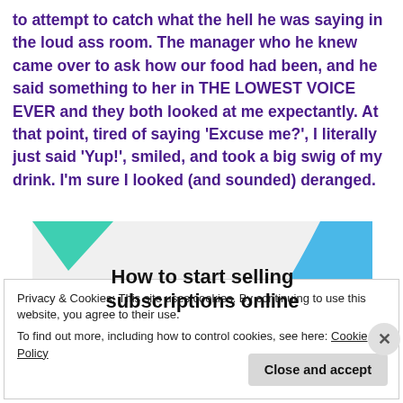to attempt to catch what the hell he was saying in the loud ass room. The manager who he knew came over to ask how our food had been, and he said something to her in THE LOWEST VOICE EVER and they both looked at me expectantly. At that point, tired of saying 'Excuse me?', I literally just said 'Yup!', smiled, and took a big swig of my drink. I'm sure I looked (and sounded) deranged.
[Figure (illustration): Advertisement banner with teal and blue geometric shapes in corners, reading 'How to start selling subscriptions online']
Privacy & Cookies: This site uses cookies. By continuing to use this website, you agree to their use.
To find out more, including how to control cookies, see here: Cookie Policy